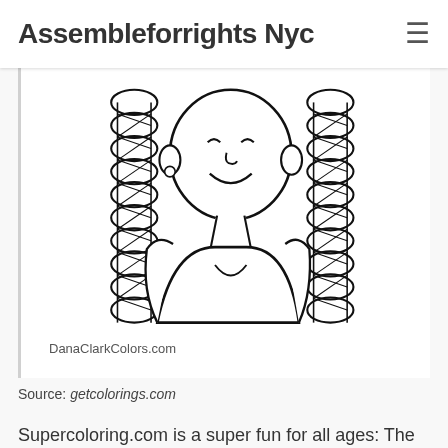Assembleforrights Nyc
[Figure (illustration): Black and white coloring page illustration of a woman with large rope-like or braided hair, smiling, upper body visible, in a coloring book line-art style. Watermark: DanaClarkColors.com]
DanaClarkColors.com
Source: getcolorings.com
Supercoloring.com is a super fun for all ages: The women are diverse from varied backgrounds and occupations: